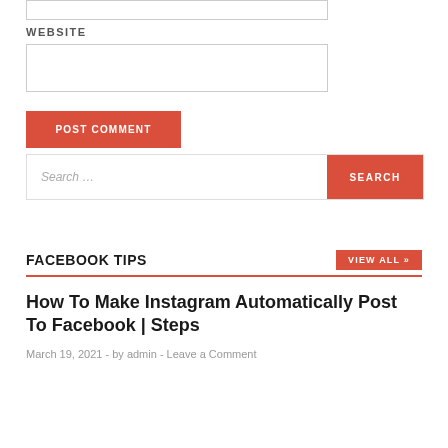[Figure (screenshot): Text input box (top, partial)]
WEBSITE
[Figure (screenshot): Website text input box]
[Figure (screenshot): POST COMMENT button (red)]
[Figure (screenshot): Search bar with Search... placeholder and SEARCH button]
FACEBOOK TIPS
[Figure (screenshot): VIEW ALL >> button (red)]
How To Make Instagram Automatically Post To Facebook | Steps
March 19, 2021 - by admin - Leave a Comment